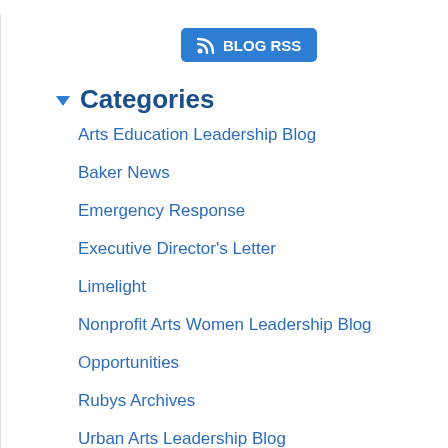[Figure (other): Blue RSS button with RSS icon and text BLOG RSS]
Categories
Arts Education Leadership Blog
Baker News
Emergency Response
Executive Director's Letter
Limelight
Nonprofit Arts Women Leadership Blog
Opportunities
Rubys Archives
Urban Arts Leadership Blog